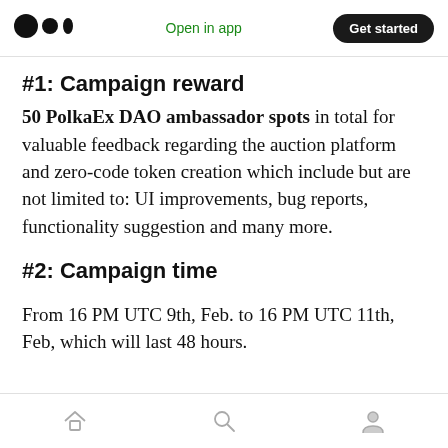Medium logo | Open in app | Get started
#1: Campaign reward
50 PolkaEx DAO ambassador spots in total for valuable feedback regarding the auction platform and zero-code token creation which include but are not limited to: UI improvements, bug reports, functionality suggestion and many more.
#2: Campaign time
From 16 PM UTC 9th, Feb. to 16 PM UTC 11th, Feb, which will last 48 hours.
Home | Search | Profile